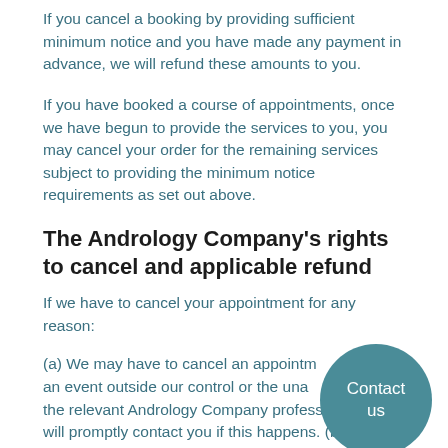If you cancel a booking by providing sufficient minimum notice and you have made any payment in advance, we will refund these amounts to you.
If you have booked a course of appointments, once we have begun to provide the services to you, you may cancel your order for the remaining services subject to providing the minimum notice requirements as set out above.
The Andrology Company’s rights to cancel and applicable refund
If we have to cancel your appointment for any reason:
(a) We may have to cancel an appointment due to an event outside our control or the unavailability of the relevant Andrology Company professional. We will promptly contact you if this happens. (b) If we
[Figure (other): Teal circular contact button with text 'Contact us']